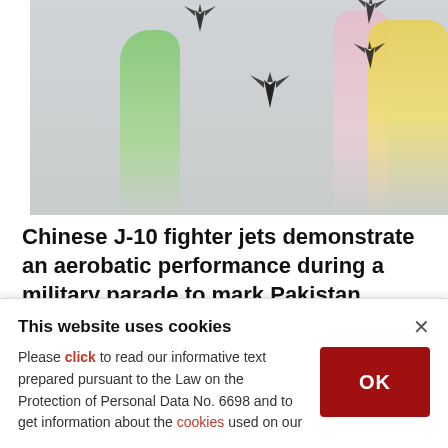[Figure (photo): Chinese J-10 fighter jets performing aerobatic maneuvers with colorful smoke trails (green, yellow, pink) against a grey sky during Pakistan National Day parade in Islamabad, 2019.]
Chinese J-10 fighter jets demonstrate an aerobatic performance during a military parade to mark Pakistan National Day, in Islamabad, Pakistan, Saturday, March 23, 2019. (AP Photo)
This website uses cookies
Please click to read our informative text prepared pursuant to the Law on the Protection of Personal Data No. 6698 and to get information about the cookies used on our